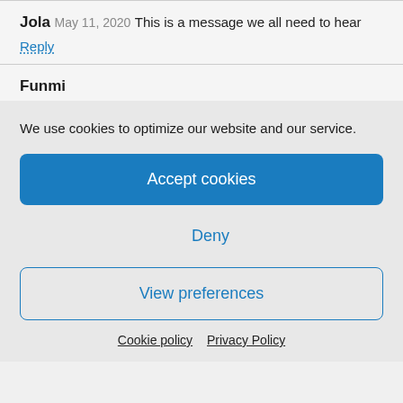Jola
May 11, 2020
This is a message we all need to hear
Reply
Funmi
We use cookies to optimize our website and our service.
Accept cookies
Deny
View preferences
Cookie policy   Privacy Policy